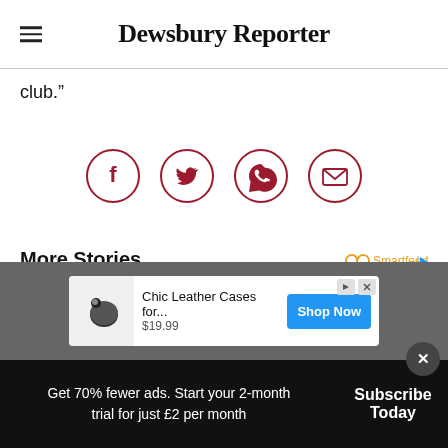Dewsbury Reporter
club.”
[Figure (infographic): Four circular social share icons: Facebook, Twitter, WhatsApp, Email — dark red outlines with matching icons]
More Stories
[Figure (logo): Smartfeed logo with infinity symbol and play icon]
[Figure (infographic): Advertisement: Chic Leather Cases for... $19.99 with Shop Now button]
Get 70% fewer ads. Start your 2-month trial for just £2 per month
Subscribe Today